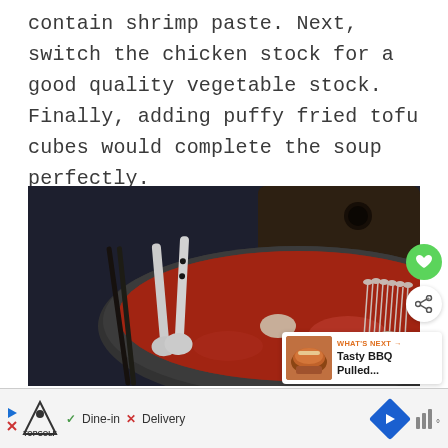contain shrimp paste. Next, switch the chicken stock for a good quality vegetable stock. Finally, adding puffy fried tofu cubes would complete the soup perfectly.
[Figure (photo): Top-down photo of a pot of red/tomato-based Asian soup (kimchi hot pot) with enoki mushrooms, tofu, and other ingredients. White ceramic spoon and black chopsticks rest on the side. Dark wooden cutting board visible in background. Dark slate table surface.]
[Figure (other): WHAT'S NEXT card overlay showing a thumbnail of a BBQ burger and text 'Tasty BBQ Pulled...']
[Figure (other): Advertisement bar at bottom: TopGolf logo with play and close buttons, Dine-in checkmark and Delivery X options, navigation arrow diamond button, and weather widget showing temperature bars.]